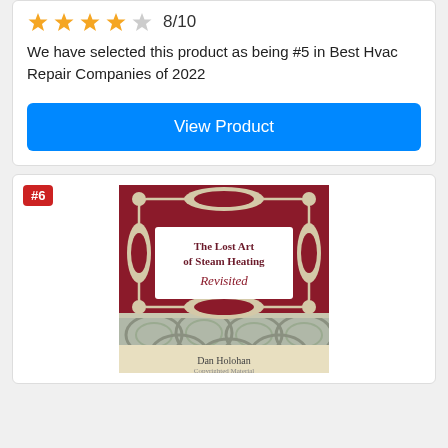★★★★☆ 8/10
We have selected this product as being #5 in Best Hvac Repair Companies of 2022
View Product
#6
[Figure (photo): Book cover of 'The Lost Art of Steam Heating Revisited' by Dan Holohan. Dark red background with ornate cream filigree border framing the white title box. Bottom section shows decorative stone or metal scroll relief work.]